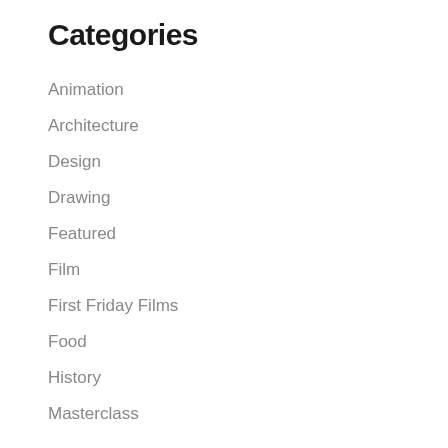Categories
Animation
Architecture
Design
Drawing
Featured
Film
First Friday Films
Food
History
Masterclass
MCM
Museum
Old Time Music